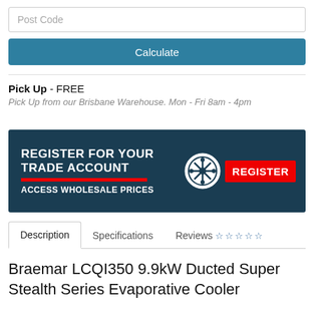Post Code
Calculate
Pick Up - FREE
Pick Up from our Brisbane Warehouse. Mon - Fri 8am - 4pm
[Figure (infographic): Dark blue banner advertisement: 'REGISTER FOR YOUR TRADE ACCOUNT' in large white bold uppercase text, red underline bar, 'ACCESS WHOLESALE PRICES' in white text, snowflake/gear icon in white circle on right, and red 'REGISTER' button]
Description	Specifications	Reviews (5 stars empty)
Braemar LCQI350 9.9kW Ducted Super Stealth Series Evaporative Cooler